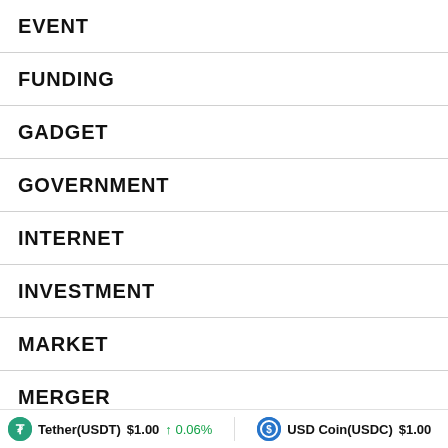EVENT
FUNDING
GADGET
GOVERNMENT
INTERNET
INVESTMENT
MARKET
MERGER
MONEY
Tether(USDT) $1.00 ↑ 0.06%   USD Coin(USDC) $1.00